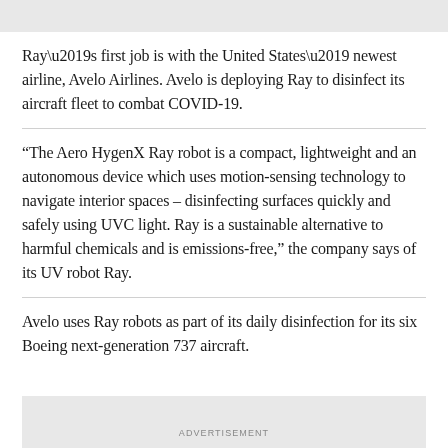[Figure (photo): Gray image placeholder at top of page]
Ray’s first job is with the United States’ newest airline, Avelo Airlines. Avelo is deploying Ray to disinfect its aircraft fleet to combat COVID-19.
“The Aero HygenX Ray robot is a compact, lightweight and an autonomous device which uses motion-sensing technology to navigate interior spaces – disinfecting surfaces quickly and safely using UVC light. Ray is a sustainable alternative to harmful chemicals and is emissions-free,” the company says of its UV robot Ray.
Avelo uses Ray robots as part of its daily disinfection for its six Boeing next-generation 737 aircraft.
[Figure (photo): Gray advertisement box placeholder at bottom of page]
ADVERTISEMENT